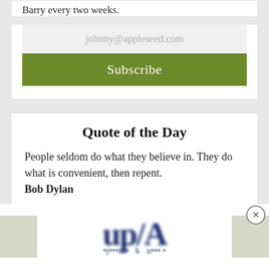Barry every two weeks.
johnny@appleseed.com
Subscribe
Quote of the Day
People seldom do what they believe in. They do what is convenient, then repent.
Bob Dylan
Start typing...
[Figure (other): Blurred advertisement banner with partially visible text and grey blocks on the sides, with a close (X) button]